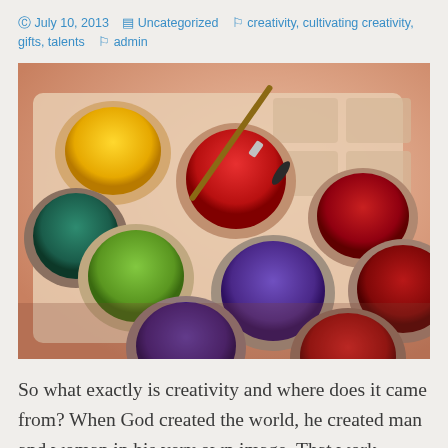© July 10, 2013   ✦ Uncategorized   ✦ creativity, cultivating creativity, gifts, talents   ✦ admin
[Figure (photo): Close-up photograph of a watercolor paint palette with multiple colorful paint pans (yellow, green, teal, red, purple, dark red) and a paintbrush resting in the red pan, warm peach/salmon background.]
So what exactly is creativity and where does it came from? When God created the world, he created man and woman in his very own image. That work includes thinking, and planning which are all elements of